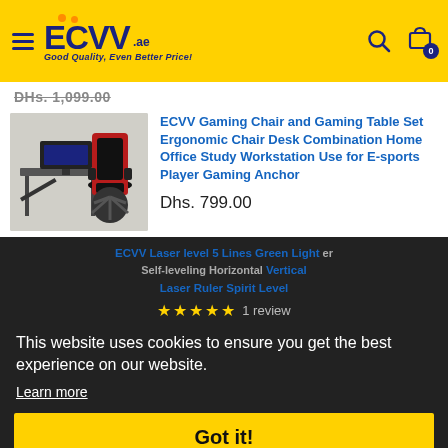ECVV .ae — Good Quality, Even Better Price!
DHs. 1,099.00
[Figure (photo): Gaming chair and gaming table set with red and black chair placed at desk]
ECVV Gaming Chair and Gaming Table Set Ergonomic Chair Desk Combination Home Office Study Workstation Use for E-sports Player Gaming Anchor
Dhs. 799.00
ECVV Laser level 5 Lines Green Light er Self-leveling Horizontal Vertical Laser Ruler Spirit Level
This website uses cookies to ensure you get the best experience on our website.
Learn more
Got it!
4 PACKS  Dhs. 99.00
Add to cart